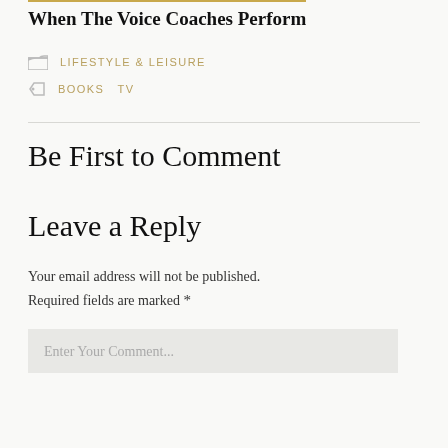When The Voice Coaches Perform
LIFESTYLE & LEISURE
BOOKS  TV
Be First to Comment
Leave a Reply
Your email address will not be published. Required fields are marked *
Enter Your Comment...